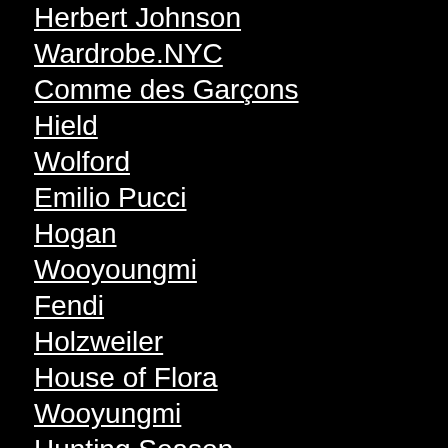Herbert Johnson
Wardrobe.NYC
Comme des Garçons
Hield
Wolford
Emilio Pucci
Hogan
Wooyoungmi
Fendi
Holzweiler
House of Flora
Wooyungmi
Hunting Season